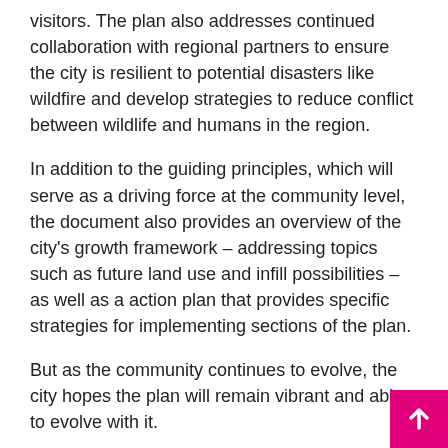visitors. The plan also addresses continued collaboration with regional partners to ensure the city is resilient to potential disasters like wildfire and develop strategies to reduce conflict between wildlife and humans in the region.
In addition to the guiding principles, which will serve as a driving force at the community level, the document also provides an overview of the city’s growth framework – addressing topics such as future land use and infill possibilities – as well as a action plan that provides specific strategies for implementing sections of the plan.
But as the community continues to evolve, the city hopes the plan will remain vibrant and able to evolve with it.
“It’s not something that sits on a shelf,” said Joyce Allgaier, director of community development for Frisco. “We are required by law to change it every five years, but there is no reason why we cannot change it before then. We would like keep him alive that way. I think this is a product that we can be